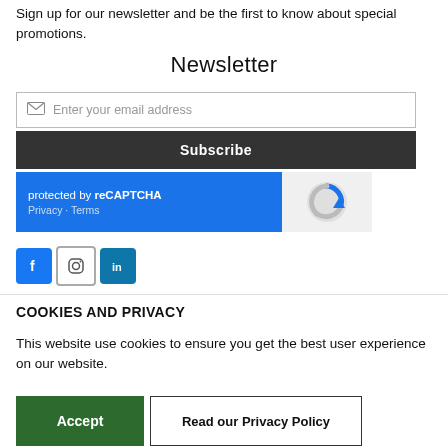Sign up for our newsletter and be the first to know about special promotions.
Newsletter
[Figure (screenshot): Email input field with envelope icon and placeholder text 'Enter your email address']
[Figure (screenshot): Dark Subscribe button]
[Figure (screenshot): reCAPTCHA widget: blue section with 'protected by reCAPTCHA' text, Privacy and Terms links, and reCAPTCHA logo on grey right side]
[Figure (screenshot): Social media icons: Facebook, Instagram, LinkedIn]
COOKIES AND PRIVACY
This website use cookies to ensure you get the best user experience on our website.
[Figure (screenshot): Accept button (green) and Read our Privacy Policy button (white with border)]